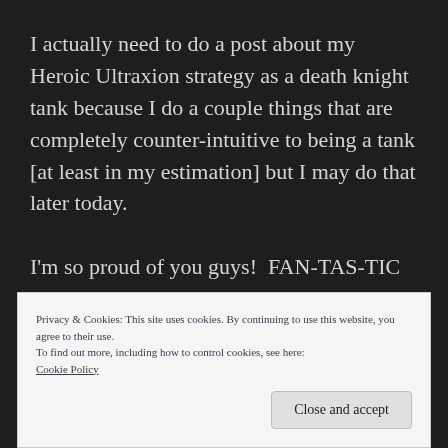I actually need to do a post about my Heroic Ultraxion strategy as a death knight tank because I do a couple things that are completely counter-intuitive to being a tank [at least in my estimation] but I may do that later today.

I'm so proud of you guys!  FAN-TAS-TIC job!
Privacy & Cookies: This site uses cookies. By continuing to use this website, you agree to their use.
To find out more, including how to control cookies, see here:
Cookie Policy
Close and accept